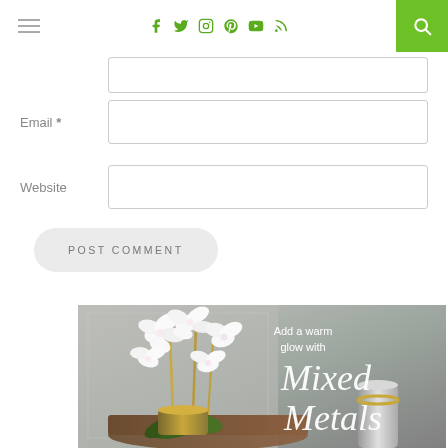Navigation header with hamburger menu, social icons (facebook, twitter, instagram, pinterest, youtube, rss), and search button
Email *
Website
POST COMMENT
[Figure (photo): Advertisement image showing white orchid flowers with gold metallic vases on a marble surface with text overlay: Add a warm glow with Mixed Metals]